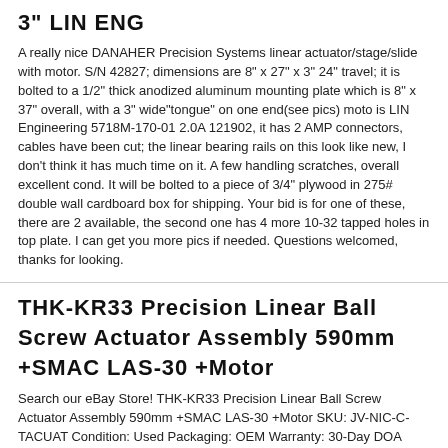3" LIN ENG
A really nice DANAHER Precision Systems linear actuator/stage/slide with motor. S/N 42827; dimensions are 8" x 27" x 3" 24" travel; it is bolted to a 1/2" thick anodized aluminum mounting plate which is 8" x 37" overall, with a 3" wide"tongue" on one end(see pics) moto is LIN Engineering 5718M-170-01 2.0A 121902, it has 2 AMP connectors, cables have been cut; the linear bearing rails on this look like new, I don't think it has much time on it. A few handling scratches, overall excellent cond. It will be bolted to a piece of 3/4" plywood in 275# double wall cardboard box for shipping. Your bid is for one of these, there are 2 available, the second one has 4 more 10-32 tapped holes in top plate. I can get you more pics if needed. Questions welcomed, thanks for looking.
THK-KR33 Precision Linear Ball Screw Actuator Assembly 590mm +SMAC LAS-30 +Motor
Search our eBay Store! THK-KR33 Precision Linear Ball Screw Actuator Assembly 590mm +SMAC LAS-30 +Motor SKU: JV-NIC-C-TACUAT Condition: Used Packaging: OEM Warranty: 30-Day DOA Warranty This auction only comes with what is pictured or listed in the description. All parts. Accessories, cables, etc. are not included unless pictured or described. If in doubt, please contact us before purchasing. Click an Image to Enlarge THK-KR33 Precision Linear Ball Screw Actuator Assembly 590mm +SMAC LAS-30 +Motor. Listing Includes: 1x THK-KR33 590mm Precision Linear Ballscrew Actuator Assembly. 1x SMAC LAS-30-015-55D Mod-194. 24V. 1x Parker Compumotor· Model: